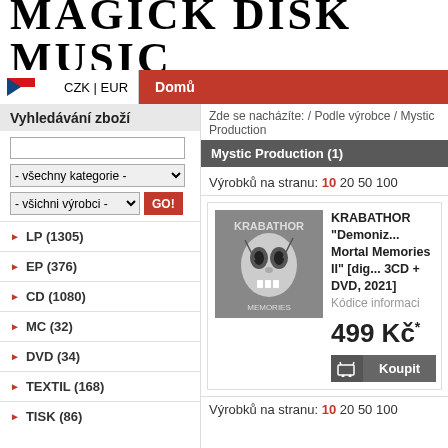MAGICK DISK MUSIC
CZK | EUR  Domů
Vyhledávání zboží
LP (1305)
EP (376)
CD (1080)
MC (32)
DVD (34)
TEXTIL (168)
TISK (86)
Zde se nacházíte: / Podle výrobce / Mystic Production
Mystic Production (1)
Výrobků na stranu: 10 20 50 100
KRABATHOR "Demoniz... Mortal Memories II" [dig... 3CD + DVD, 2021]
Kódice informaci
499 Kč*
Výrobků na stranu: 10 20 50 100